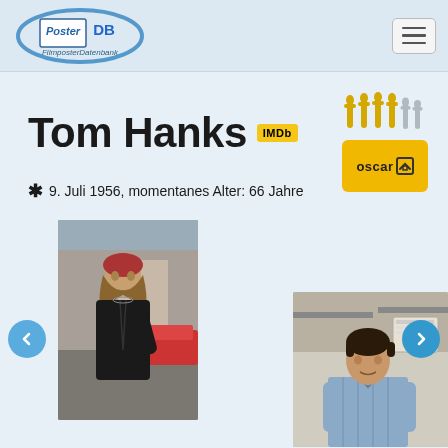Poster DB - Filmposter Datenbank
Tom Hanks
[Figure (logo): IMDb yellow badge logo]
[Figure (logo): Oscar statuettes on yellow background with text 'oscar']
* 9. Juli 1956, momentanes Alter: 66 Jahre
[Figure (photo): Tom Hanks movie still - actor with long hair and red bandana outdoors]
[Figure (photo): Tom Hanks movie still - younger actor in blue shirt indoors]